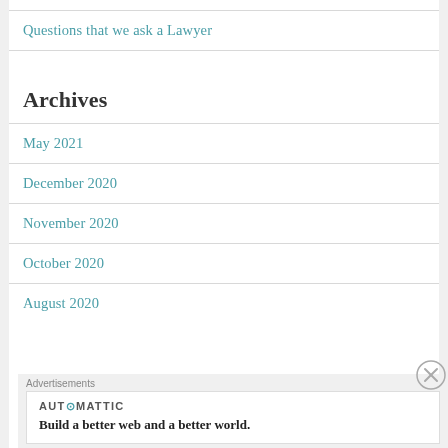Questions that we ask a Lawyer
Archives
May 2021
December 2020
November 2020
October 2020
August 2020
[Figure (other): Advertisement banner with Automattic logo and tagline: Build a better web and a better world.]